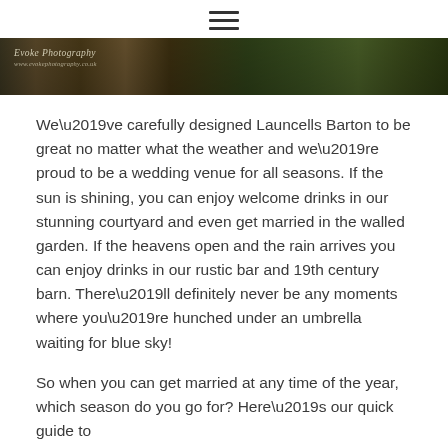[Figure (photo): A dark panoramic outdoor photo showing autumn leaves on the ground and green grass, with a photography studio watermark 'Evoke Photography' in the top left corner.]
We’ve carefully designed Launcells Barton to be great no matter what the weather and we’re proud to be a wedding venue for all seasons. If the sun is shining, you can enjoy welcome drinks in our stunning courtyard and even get married in the walled garden. If the heavens open and the rain arrives you can enjoy drinks in our rustic bar and 19th century barn. There’ll definitely never be any moments where you’re hunched under an umbrella waiting for blue sky!
So when you can get married at any time of the year, which season do you go for? Here’s our quick guide to